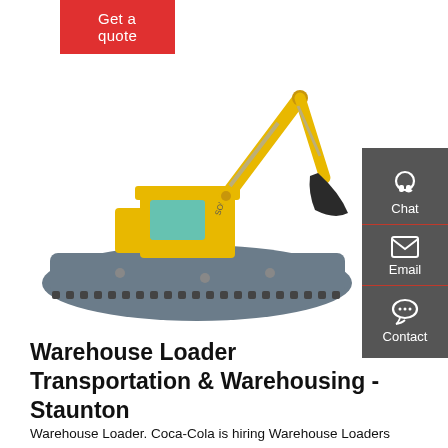Get a quote
[Figure (photo): Yellow amphibious excavator/crawler machine with extended boom arm and bucket, on a dark pontoon/track platform. Brand label reads SOLS.]
[Figure (infographic): Dark grey sidebar with three contact options: Chat (headset icon), Email (envelope icon), Contact (speech bubble with dots icon), each separated by a red line.]
Warehouse Loader Transportation & Warehousing - Staunton
Warehouse Loader. Coca-Cola is hiring Warehouse Loaders